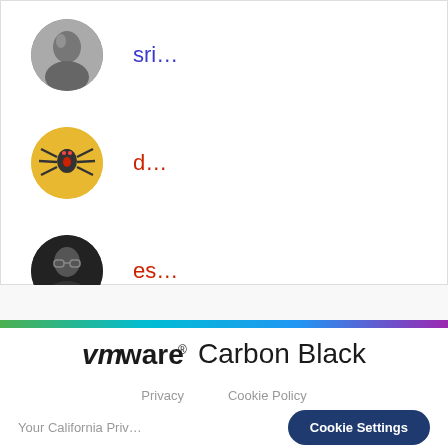[Figure (screenshot): User list with three rows. Row 1: circular grayscale photo of a woman, username 'sri...' in blue. Row 2: circular yellow avatar with spider emoji, username 'd...' in red. Row 3: circular dark photo of a bald man, username 'es...' in red.]
[Figure (logo): VMware Carbon Black logo with rainbow gradient bar above it]
Privacy   Cookie Policy
Your California Priv...
Cookie Settings